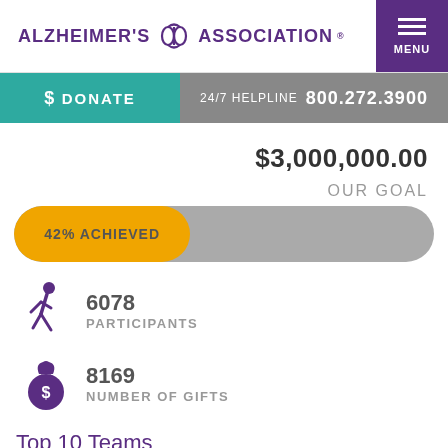ALZHEIMER'S ASSOCIATION
$ DONATE  24/7 HELPLINE  800.272.3900
$3,000,000.00
OUR GOAL
[Figure (infographic): Progress bar showing 42% achieved toward goal, orange fill on left, gray remainder on right, labeled '42% ACHIEVED']
6078 PARTICIPANTS
8169 NUMBER OF GIFTS
Top 10 Teams